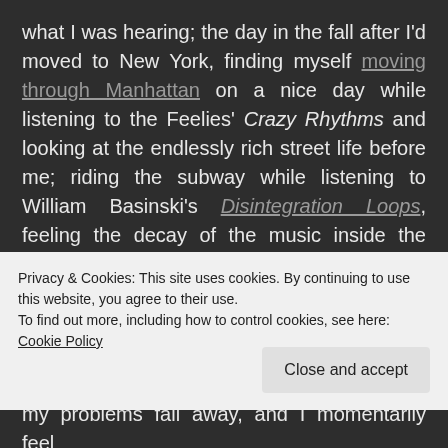what I was hearing; the day in the fall after I'd moved to New York, finding myself moving through Manhattan on a nice day while listening to the Feelies' Crazy Rhythms and looking at the endlessly rich street life before me; riding the subway while listening to William Basinski's Disintegration Loops, feeling the decay of the music inside the squealing car; the weeks in Chicago taking in new sights while immersing myself in the overwhelming sonic landscape of Gas.
Privacy & Cookies: This site uses cookies. By continuing to use this website, you agree to their use.
To find out more, including how to control cookies, see here: Cookie Policy
my problems fall away, and I momentarily feel